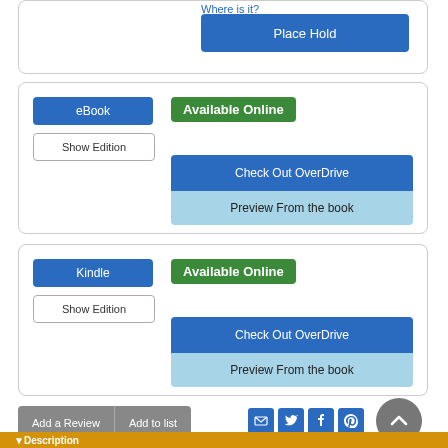Where is it?
Place Hold
eBook
Available Online
Show Edition
Check Out OverDrive
Preview From the book
Kindle
Available Online
Show Edition
Check Out OverDrive
Preview From the book
Add a Review
Add to list
Description